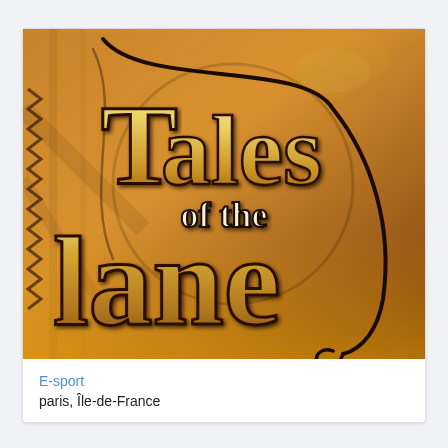[Figure (illustration): Game logo image: 'Tales of the Lane' on an orange/golden background with fantasy medieval-style lettering and decorative swirling whip/rope element]
E-sport
paris, Île-de-France